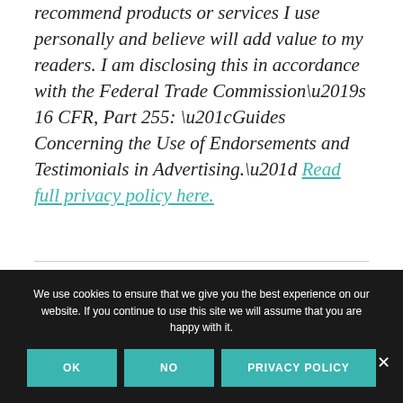recommend products or services I use personally and believe will add value to my readers. I am disclosing this in accordance with the Federal Trade Commission's 16 CFR, Part 255: “Guides Concerning the Use of Endorsements and Testimonials in Advertising.” Read full privacy policy here.
We use cookies to ensure that we give you the best experience on our website. If you continue to use this site we will assume that you are happy with it.